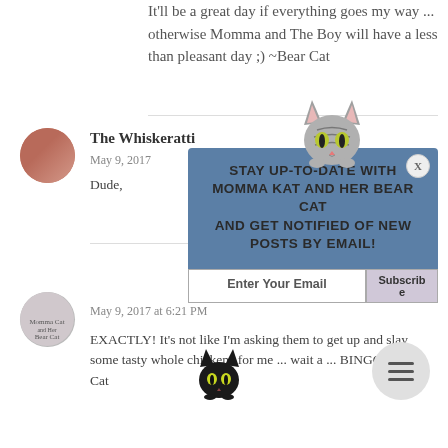It'll be a great day if everything goes my way ... otherwise Momma and The Boy will have a less than pleasant day ;) ~Bear Cat
The Whiskeratti
May 9, 2017
Dude, ... [popup obscures text] ... eak out the scritch...
[Figure (infographic): Popup subscription box: Stay up-to-date with Momma Kat and Her Bear Cat and get notified of new posts by email! With email input field and Subscribe button. Grey tabby cat mascot at top, black cat mascot at bottom-left.]
Reply
May 9, 2017 at 6:21 PM
EXACTLY! It's not like I'm asking them to get up and slay some tasty whole chickens for me ... wait a ... BINGO! ~Bear Cat